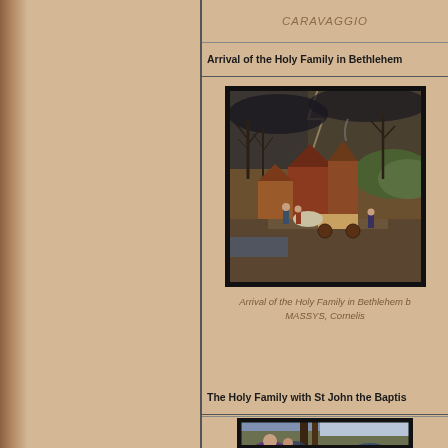CARAVAGGIO
Arrival of the Holy Family in Bethlehem
[Figure (illustration): Painting of the Arrival of the Holy Family in Bethlehem by MASSYS, Cornelis — a winter village scene with dark skies, bare trees, red-brick buildings, and a crowd of figures with a cart.]
Arrival of the Holy Family in Bethlehem by MASSYS, Cornelis
The Holy Family with St John the Baptist
[Figure (illustration): Partial painting of The Holy Family with St John the Baptist — figures in a landscape with trees and distant scenery.]